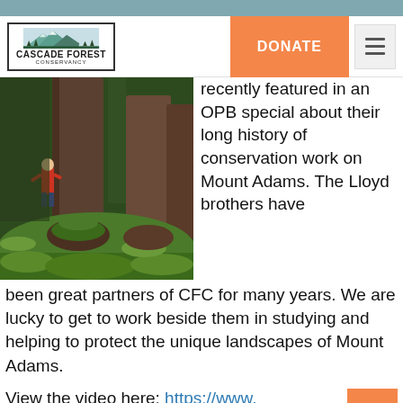Cascade Forest Conservancy
[Figure (logo): Cascade Forest Conservancy logo with mountain silhouette]
[Figure (photo): Person standing next to large old-growth trees in a mossy forest]
recently featured in an OPB special about their long history of conservation work on Mount Adams. The Lloyd brothers have been great partners of CFC for many years. We are lucky to get to work beside them in studying and helping to protect the unique landscapes of Mount Adams.
View the video here: https://www.marspremedia.com/cloud/public/5079fd